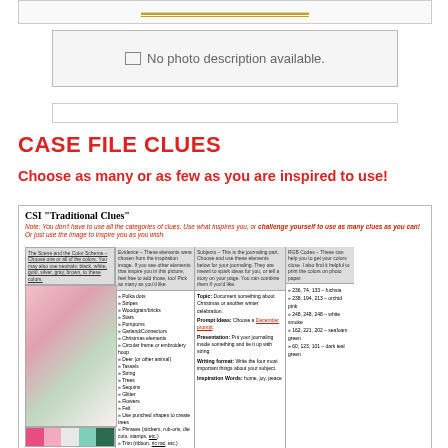[Figure (other): Top banner image placeholder with orange/gold link text]
[Figure (photo): No photo description available placeholder image box]
[Figure (other): Empty input/text field box]
CASE FILE CLUES
Choose as many or as few as you are inspired to use!
[Figure (table-as-image): CSI Traditional Clues table with four columns: The Scene and the Color Scheme, Evidence, Subjects/Journaling prompts, and RGB Codes. Contains Christmas-themed scrapbooking clues with a photo of a pink Christmas tree and color swatches.]